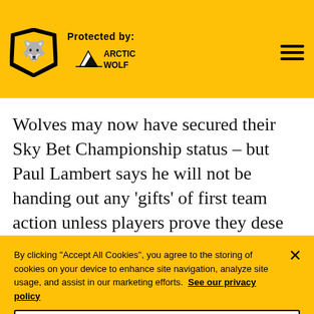[Figure (logo): Wolverhampton Wanderers FC crest logo and Arctic Wolf 'Protected by' branding on yellow header bar with hamburger menu]
Wolves may now have secured their Sky Bet Championship status – but Paul Lambert says he will not be handing out any 'gifts' of first team action unless players prove they dese
By clicking "Accept All Cookies", you agree to the storing of cookies on your device to enhance site navigation, analyze site usage, and assist in our marketing efforts. See our privacy policy
Cookies Settings
Reject All
Accept All Cookies